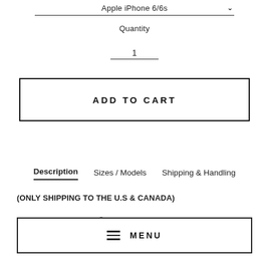Apple iPhone 6/6s
Quantity
1
ADD TO CART
Description   Sizes / Models   Shipping & Handling
(ONLY SHIPPING TO THE U.S & CANADA)
This premium Swaponz® InfiniteSwap™ Phone Case Set features reusable swaps, each with sharp, high-quality graphics. With Swaponz® InfiniteSwap™ patented technology you can
MENU